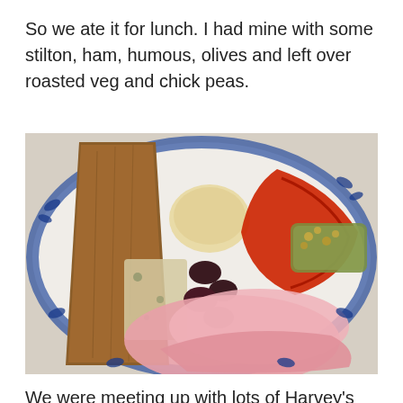So we ate it for lunch.  I had mine with some stilton, ham, humous, olives and left over roasted veg and chick peas.
[Figure (photo): A decorative blue and white plate with a ploughman's lunch style meal: a thick slice of wholegrain bread, stilton cheese, dark olives, humous/cream cheese, roasted red peppers, courgette and chickpeas, and slices of pink ham.]
We were meeting up with lots of Harvey's friends this